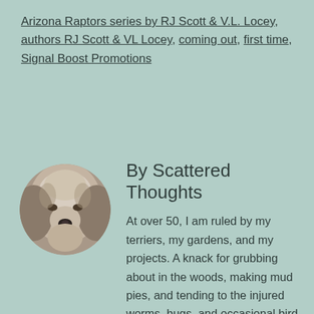Arizona Raptors series by RJ Scott & V.L. Locey, authors RJ Scott & VL Locey, coming out, first time, Signal Boost Promotions
[Figure (photo): Circular avatar photo of a dog (terrier), close-up face, grey/white fur, black nose]
By Scattered Thoughts
At over 50, I am ruled by my terriers, my gardens, and my projects. A knack for grubbing about in the woods, making mud pies, and tending to the injured worms, bugs, and occasional bird and turtle growing up eventually led me to working for the Parks. I was a park Naturalist for over 20 years, and observing Nature and